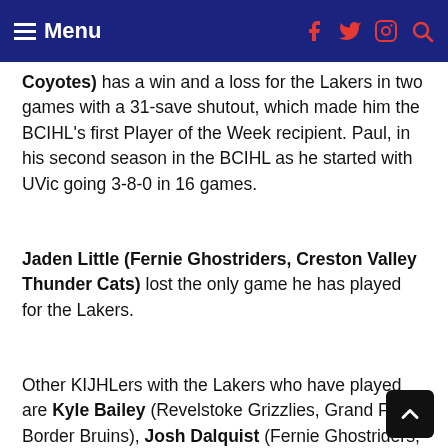Menu
Coyotes) has a win and a loss for the Lakers in two games with a 31-save shutout, which made him the BCIHL's first Player of the Week recipient. Paul, in his second season in the BCIHL as he started with UVic going 3-8-0 in 16 games.
Jaden Little (Fernie Ghostriders, Creston Valley Thunder Cats) lost the only game he has played for the Lakers.
Other KIJHLers with the Lakers who have played are Kyle Bailey (Revelstoke Grizzlies, Grand Forks Border Bruins), Josh Dalquist (Fernie Ghostriders, Creston Valley Thunder Cats), Ty Banser (Summerland Steam), Tyler Olsen (North Okanagan Knights), Seth Kriens (Spr...